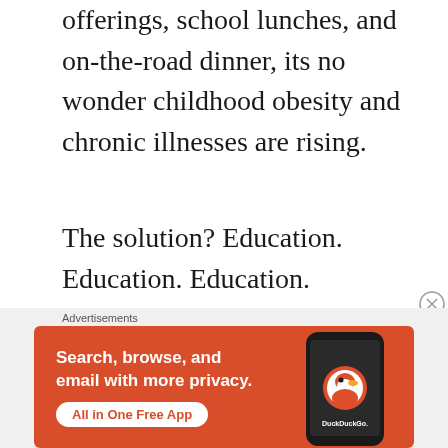offerings, school lunches, and on-the-road dinner, its no wonder childhood obesity and chronic illnesses are rising.
The solution? Education. Education. Education.
For whom?
Everyone!
[Figure (other): DuckDuckGo advertisement banner with orange background showing a smartphone. Text reads: 'Search, browse, and email with more privacy. All in One Free App'. DuckDuckGo logo and duck mascot visible.]